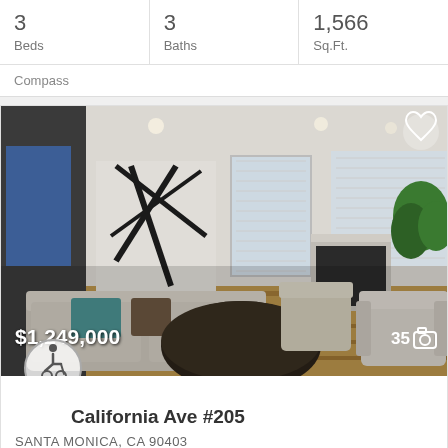|  |  |  |
| --- | --- | --- |
| 3
Beds | 3
Baths | 1,566
Sq.Ft. |
Compass
[Figure (photo): Interior living room photo of a bright, modern home with white walls, hardwood floors, fireplace, sofas, and large windows with shutters.]
$1,249,000
35 [camera icon]
California Ave #205
SANTA MONICA, CA 90403